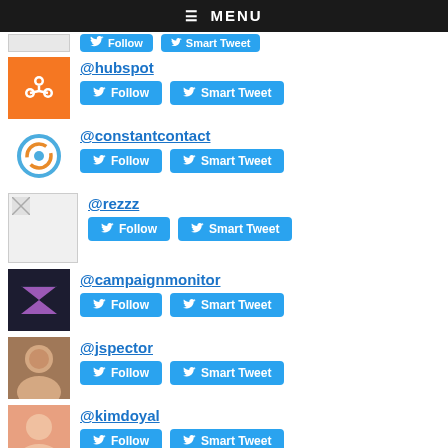≡ MENU
@hubspot
@constantcontact
@rezzz
@campaignmonitor
@jspector
@kimdoyal
@statistacharts
@justinmooretfam